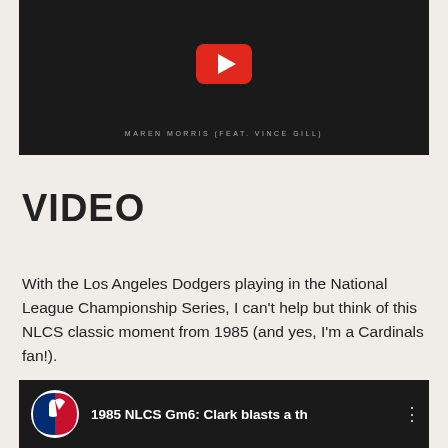[Figure (screenshot): YouTube video embed with dark background, red YouTube play button icon, and subtitle text 'MAREN MORRIS (FEAT. VINCE GILL)']
VIDEO
With the Los Angeles Dodgers playing in the National League Championship Series, I can't help but think of this NLCS classic moment from 1985 (and yes, I'm a Cardinals fan!).
[Figure (screenshot): MLB video thumbnail showing logo and title '1985 NLCS Gm6: Clark blasts a th']